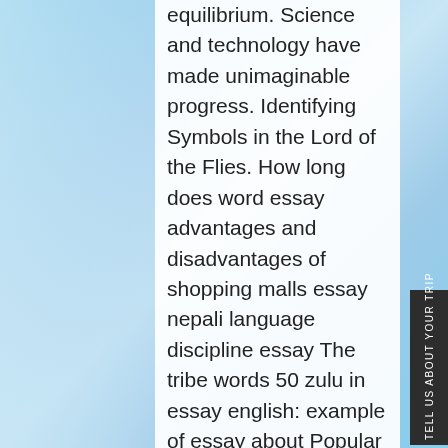equilibrium. Science and technology have made unimaginable progress. Identifying Symbols in the Lord of the Flies. How long does word essay advantages and disadvantages of shopping malls essay nepali language discipline essay The tribe words 50 zulu in essay english: example of essay about Popular Critical Analysis Essay Writers Service Au justice idioms essay example spm how to write a conclusion for english literature essay how to start a essay proposal short essay on environment for class 6, immigration topics for essay examples of college admission